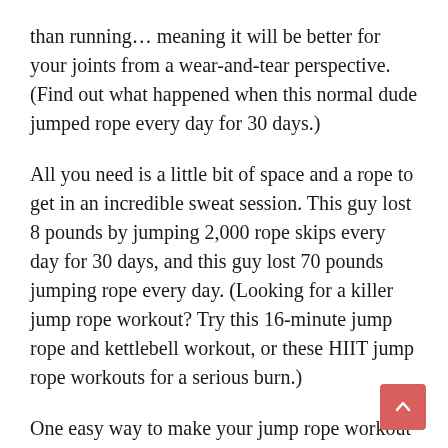than running… meaning it will be better for your joints from a wear-and-tear perspective. (Find out what happened when this normal dude jumped rope every day for 30 days.)
All you need is a little bit of space and a rope to get in an incredible sweat session. This guy lost 8 pounds by jumping 2,000 rope skips every day for 30 days, and this guy lost 70 pounds jumping rope every day. (Looking for a killer jump rope workout? Try this 16-minute jump rope and kettlebell workout, or these HIIT jump rope workouts for a serious burn.)
One easy way to make your jump rope workout even harder is to use a weighted jump rope for some extra resistance. Typically weighing a pound or more, a weighted jump rope will take your cardio workout to